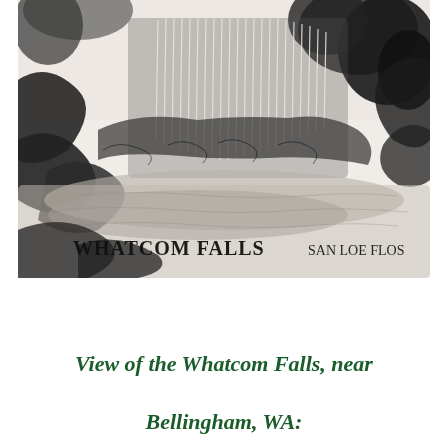[Figure (illustration): Ink sketch/drawing of Whatcom Falls with handwritten text 'WHATCOM FALLS' and 'SAN LOE FLOS' at the bottom of the illustration. The drawing depicts a waterfall with rocks, trees, and water rendered in black ink with gray wash shading.]
View of the Whatcom Falls, near Bellingham, WA: